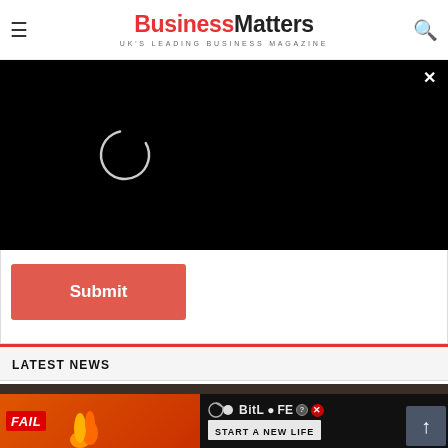Business Matters — UK'S LEADING BUSINESS MAGAZINE
[Figure (screenshot): Black video player overlay with loading spinner circle and close (×) button in top-right corner]
[Figure (screenshot): Red Submit button on white background inside a form area]
LATEST NEWS
[Figure (screenshot): News article image (brick building, partially visible) with BitLife advertisement overlay at bottom reading FAIL and START A NEW LIFE]
[Figure (screenshot): Scroll-to-top arrow button in bottom-right corner (dark grey square with up arrow)]